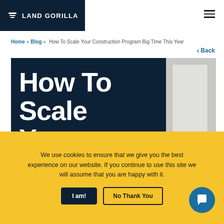LAND GORILLA
Home » Blog » How To Scale Your Construction Program Big Time This Year
Back
How To Scale Your Construction
We use cookies to ensure that we give you the best experience on our website. If you continue to use this site we will assume that you are happy with it.
I am! | No Thank You